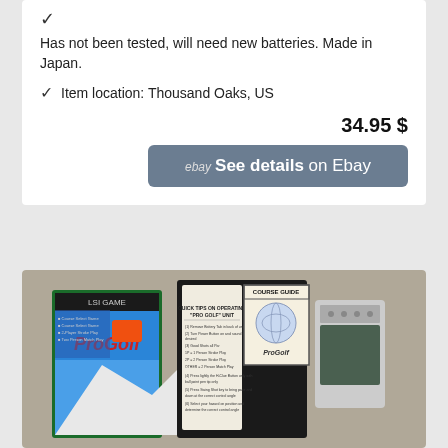✓
Has not been tested, will need new batteries. Made in Japan.
✓  Item location: Thousand Oaks, US
34.95 $
ebay  See details on Ebay
[Figure (photo): Photo of a ProGolf handheld electronic game, showing the box, a quick tips instruction sheet, a Course Guide card with a golf ball logo, and the handheld device itself, all spread out on a gray surface.]